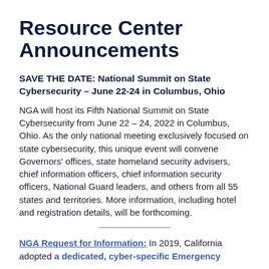Resource Center Announcements
SAVE THE DATE: National Summit on State Cybersecurity – June 22-24 in Columbus, Ohio
NGA will host its Fifth National Summit on State Cybersecurity from June 22 – 24, 2022 in Columbus, Ohio. As the only national meeting exclusively focused on state cybersecurity, this unique event will convene Governors' offices, state homeland security advisers, chief information officers, chief information security officers, National Guard leaders, and others from all 55 states and territories. More information, including hotel and registration details, will be forthcoming.
NGA Request for Information: In 2019, California adopted a dedicated, cyber-specific Emergency